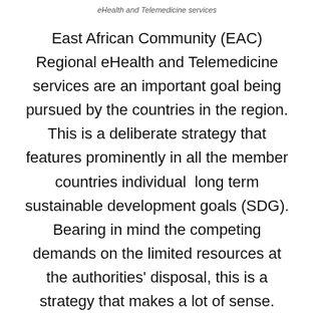eHealth and Telemedicine services
East African Community (EAC) Regional eHealth and Telemedicine services are an important goal being pursued by the countries in the region. This is a deliberate strategy that features prominently in all the member countries individual  long term sustainable development goals (SDG). Bearing in mind the competing demands on the limited resources at the authorities' disposal, this is a strategy that makes a lot of sense.